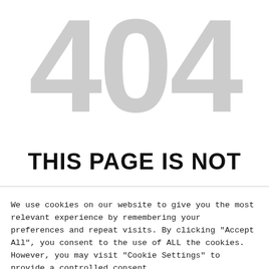404
THIS PAGE IS NOT
We use cookies on our website to give you the most relevant experience by remembering your preferences and repeat visits. By clicking "Accept All", you consent to the use of ALL the cookies. However, you may visit "Cookie Settings" to provide a controlled consent.
Cookie Settings | Accept All